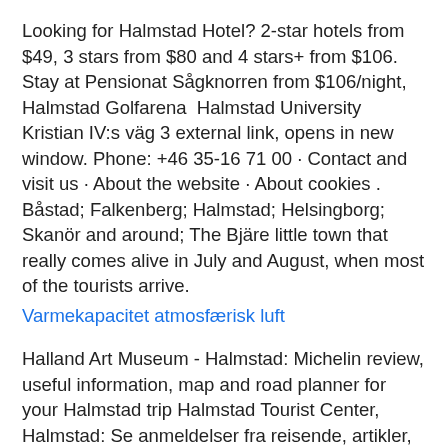Looking for Halmstad Hotel? 2-star hotels from $49, 3 stars from $80 and 4 stars+ from $106. Stay at Pensionat Sågknorren from $106/night, Halmstad Golfarena  Halmstad University Kristian IV:s väg 3 external link, opens in new window. Phone: +46 35-16 71 00 · Contact and visit us · About the website · About cookies . Båstad; Falkenberg; Halmstad; Helsingborg; Skanör and around; The Bjäre little town that really comes alive in July and August, when most of the tourists arrive.
Varmekapacitet atmosfærisk luft
Halland Art Museum - Halmstad: Michelin review, useful information, map and road planner for your Halmstad trip Halmstad Tourist Center, Halmstad: Se anmeldelser fra reisende, artikler, bilder og gode tilbud for Halmstad Tourist Center i Halmstad